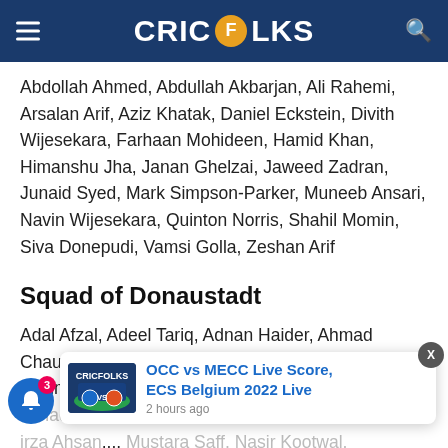CRICFOLKS
Abdollah Ahmed, Abdullah Akbarjan, Ali Rahemi, Arsalan Arif, Aziz Khatak, Daniel Eckstein, Divith Wijesekara, Farhaan Mohideen, Hamid Khan, Himanshu Jha, Janan Ghelzai, Jaweed Zadran, Junaid Syed, Mark Simpson-Parker, Muneeb Ansari, Navin Wijesekara, Quinton Norris, Shahil Momin, Siva Donepudi, Vamsi Golla, Zeshan Arif
Squad of Donaustadt
Adal Afzal, Adeel Tariq, Adnan Haider, Ahmad Chaudhry, Ahsan Yousuf, Aqib Iqbal, Azhar Mehmood, Balwinder Singh, Basit Iqbal, mmad Ra..., Mirza Ahsan..., Mustara Saff, Nasir Kootwal,
[Figure (screenshot): OCC vs MECC Live Score popup notification banner with Cricfolks logo image and text: OCC vs MECC Live Score, ECS Belgium 2022 Live — 2 hours ago]